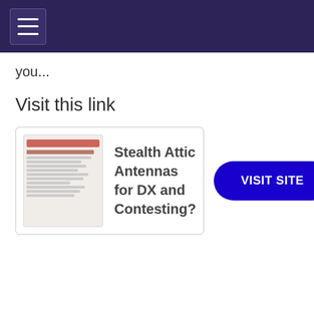Navigation bar with hamburger menu
you...
Visit this link
[Figure (screenshot): Thumbnail screenshot of a webpage about Stealth Attic Antennas]
Stealth Attic Antennas for DX and Contesting?
VISIT SITE